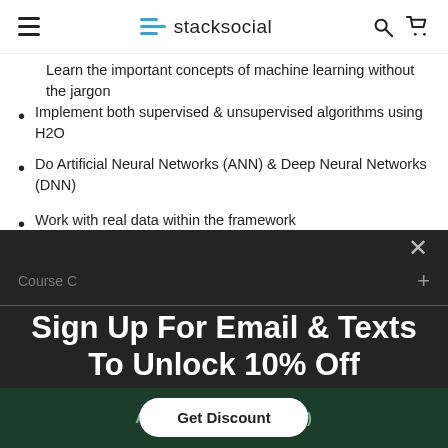stacksocial
Learn the important concepts of machine learning without the jargon
Implement both supervised & unsupervised algorithms using H2O
Do Artificial Neural Networks (ANN) & Deep Neural Networks (DNN)
Work with real data within the framework
Course C +
Sign Up For Email & Texts To Unlock 10% Off
Get Discount
ADD TO CART ($33.99)